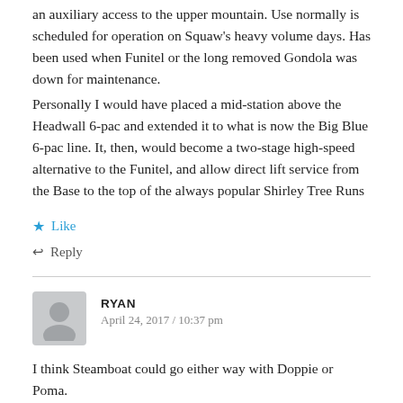an auxiliary access to the upper mountain. Use normally is scheduled for operation on Squaw's heavy volume days. Has been used when Funitel or the long removed Gondola was down for maintenance.
Personally I would have placed a mid-station above the Headwall 6-pac and extended it to what is now the Big Blue 6-pac line. It, then, would become a two-stage high-speed alternative to the Funitel, and allow direct lift service from the Base to the top of the always popular Shirley Tree Runs
Like
Reply
RYAN
April 24, 2017 / 10:37 pm
I think Steamboat could go either way with Doppie or Poma.